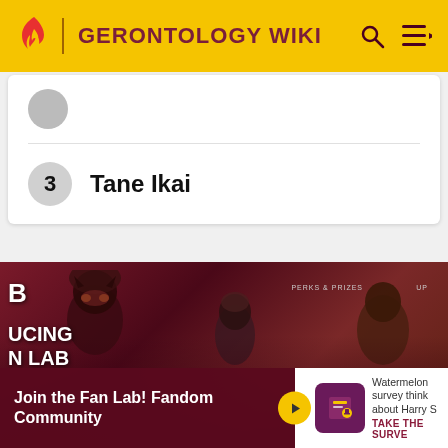GERONTOLOGY WIKI
3  Tane Ikai
[Figure (photo): Movie promotional banner featuring characters in costume including a person wearing a bat-mask, a young man, and a figure in desert attire. Text partially visible: 'B', 'UCING', 'N LAB', 'PERKS & PRIZES']
Join the Fan Lab! Fandom Community
Watermelon survey think about Harry S
TAKE THE SURVE